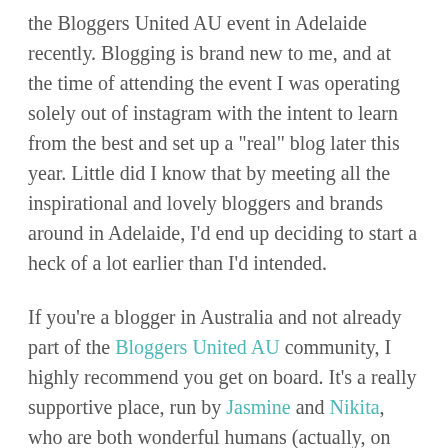the Bloggers United AU event in Adelaide recently. Blogging is brand new to me, and at the time of attending the event I was operating solely out of instagram with the intent to learn from the best and set up a "real" blog later this year. Little did I know that by meeting all the inspirational and lovely bloggers and brands around in Adelaide, I'd end up deciding to start a heck of a lot earlier than I'd intended.

If you're a blogger in Australia and not already part of the Bloggers United AU community, I highly recommend you get on board. It's a really supportive place, run by Jasmine and Nikita, who are both wonderful humans (actually, on that note, Nikita is currently raising money for the Whitelion charity and you should definitely go